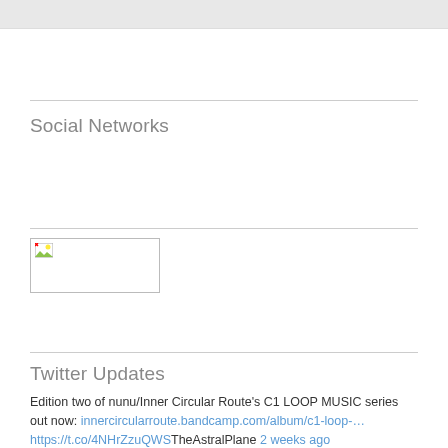[Figure (other): Gray banner/bar at top of page]
Social Networks
[Figure (photo): Broken image placeholder with small icon in upper-left corner]
Twitter Updates
Edition two of nunu/Inner Circular Route's C1 LOOP MUSIC series out now: innercircularroute.bandcamp.com/album/c1-loop-… https://t.co/4NHrZzuQWSTheAstralPlane 2 weeks ago